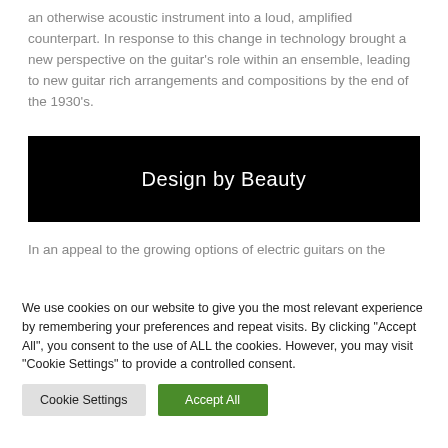an otherwise acoustic instrument into a loud, amplified counterpart. In response to this change in technology brought a new perspective on the guitar's role within an ensemble, leading to new guitar rich arrangements and compositions by the end of the 1930's.
[Figure (other): Black banner with white text reading 'Design by Beauty']
In an appeal to the growing options of electric guitars on the
We use cookies on our website to give you the most relevant experience by remembering your preferences and repeat visits. By clicking "Accept All", you consent to the use of ALL the cookies. However, you may visit "Cookie Settings" to provide a controlled consent.